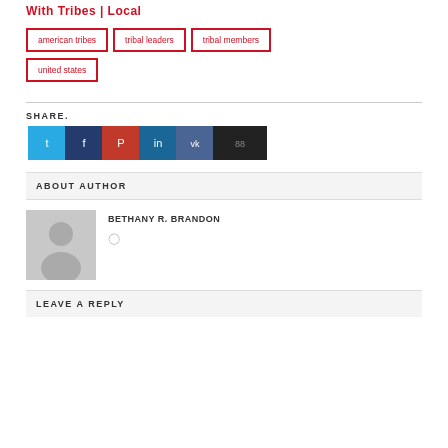With Tribes | Local
american tribes
tribal leaders
tribal members
united states
SHARE.
ABOUT AUTHOR
BETHANY R. BRANDON
LEAVE A REPLY